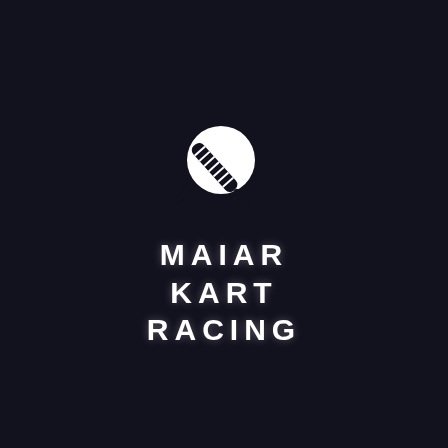[Figure (logo): Maiar Kart Racing logo: a white circle with a diagonal kart or tire track graphic overlaid, positioned above the brand name text]
MAIAR KART RACING